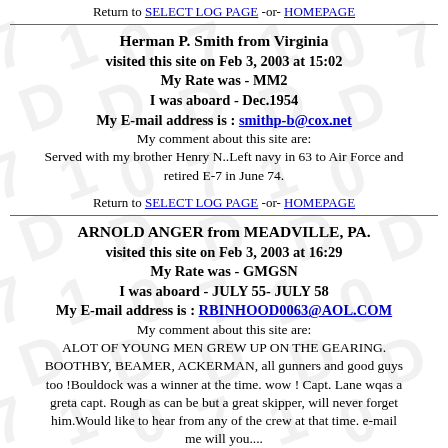Return to SELECT LOG PAGE -or- HOMEPAGE
Herman P. Smith from Virginia visited this site on Feb 3, 2003 at 15:02
My Rate was - MM2
I was aboard - Dec.1954
My E-mail address is : smithp-b@cox.net
My comment about this site are:
Served with my brother Henry N..Left navy in 63 to Air Force and retired E-7 in June 74.
Return to SELECT LOG PAGE -or- HOMEPAGE
ARNOLD ANGER from MEADVILLE, PA. visited this site on Feb 3, 2003 at 16:29
My Rate was - GMGSN
I was aboard - JULY 55- JULY 58
My E-mail address is : RBINHOOD0063@AOL.COM
My comment about this site are:
ALOT OF YOUNG MEN GREW UP ON THE GEARING. BOOTHBY, BEAMER, ACKERMAN, all gunners and good guys too !Bouldock was a winner at the time. wow ! Capt. Lane wqas a greta capt. Rough as can be but a great skipper, will never forget him.Would like to hear from any of the crew at that time. e-mail me will you....